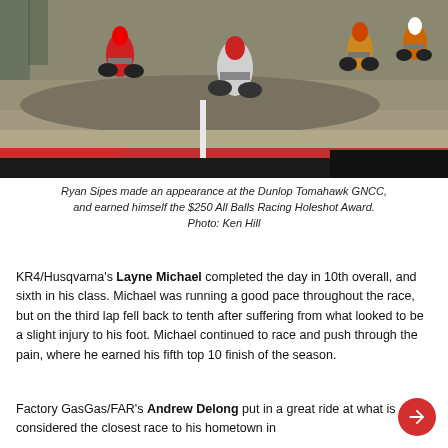[Figure (photo): Motocross/GNCC riders racing on a dirt course, with red banners/barriers visible in the lower portion of the image.]
Ryan Sipes made an appearance at the Dunlop Tomahawk GNCC, and earned himself the $250 All Balls Racing Holeshot Award. Photo: Ken Hill
KR4/Husqvarna's Layne Michael completed the day in 10th overall, and sixth in his class. Michael was running a good pace throughout the race, but on the third lap fell back to tenth after suffering from what looked to be a slight injury to his foot. Michael continued to race and push through the pain, where he earned his fifth top 10 finish of the season.
Factory GasGas/FAR's Andrew Delong put in a great ride at what is considered the closest race to his hometown in